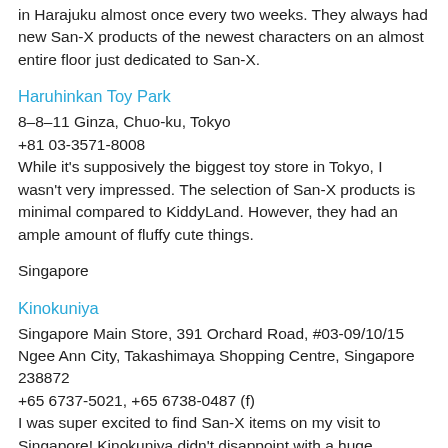in Harajuku almost once every two weeks. They always had new San-X products of the newest characters on an almost entire floor just dedicated to San-X.
Haruhinkan Toy Park
8–8–11 Ginza, Chuo-ku, Tokyo
+81 03-3571-8008
While it's supposively the biggest toy store in Tokyo, I wasn't very impressed. The selection of San-X products is minimal compared to KiddyLand. However, they had an ample amount of fluffy cute things.
Singapore
Kinokuniya
Singapore Main Store, 391 Orchard Road, #03-09/10/15 Ngee Ann City, Takashimaya Shopping Centre, Singapore 238872
+65 6737-5021, +65 6738-0487 (f)
I was super excited to find San-X items on my visit to Singapore! Kinokuniya didn't disappoint with a huge selection of San-X, including notebooks, plushies, pencils